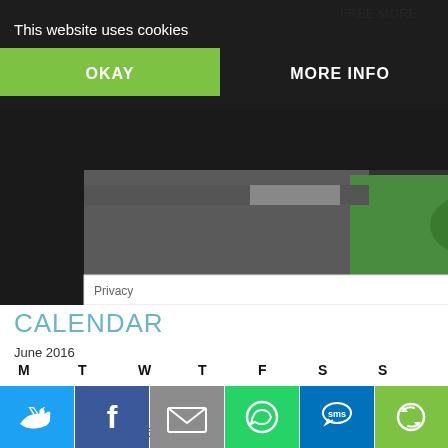[Figure (screenshot): Website screenshot showing a cookie consent banner overlay on a webpage with a green button OKAY and text MORE INFO, with a partial image visible below showing what appears to be food/market items with a Privacy label]
This website uses cookies
OKAY
MORE INFO
Privacy
CALENDAR
June 2016
| M | T | W | T | F | S | S |
| --- | --- | --- | --- | --- | --- | --- |
|  |  | 1 | 2 | 3 | 4 | 5 |
| 6 | 7 | 8 | 9 | 10 | 11 | 12 |
| 13 | 14 | 15 | 16 | 17 | 18 | 19 |
| 20 | 21 | 22 | 23 | 24 | 25 | 26 |
| 27 | 28 | 29 | 30 |  |  |  |
[Figure (infographic): Social sharing bar at bottom with icons for Twitter, Facebook, Email, WhatsApp, SMS, and Share]